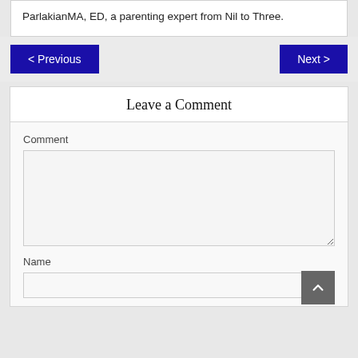ParlakianMA, ED, a parenting expert from Nil to Three.
< Previous
Next >
Leave a Comment
Comment
Name